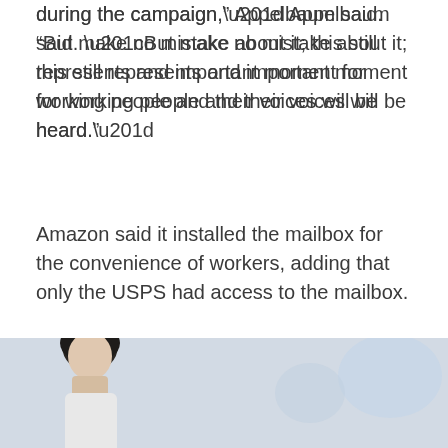during the campaign,” Appelbaum said. “But make no mistake about it; this still represents and important moment for working people and their voices will be heard.”
Amazon said it installed the mailbox for the convenience of workers, adding that only the USPS had access to the mailbox.
This story is developing. Refresh this page for updates.
This article was originally published by Cnbc.com. Read the original article here.
[Figure (photo): Partial photo of a person with dark hair at the bottom of the page, with blurred background elements]